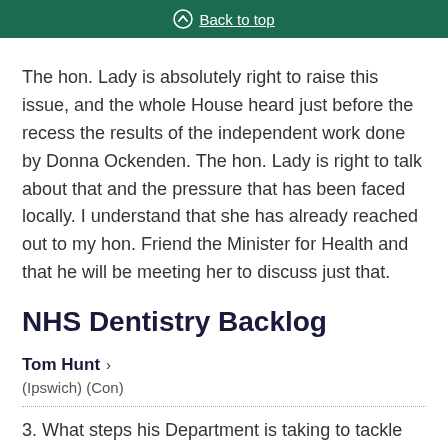Back to top
The hon. Lady is absolutely right to raise this issue, and the whole House heard just before the recess the results of the independent work done by Donna Ockenden. The hon. Lady is right to talk about that and the pressure that has been faced locally. I understand that she has already reached out to my hon. Friend the Minister for Health and that he will be meeting her to discuss just that.
NHS Dentistry Backlog
Tom Hunt >
(Ipswich) (Con)
3. What steps his Department is taking to tackle the